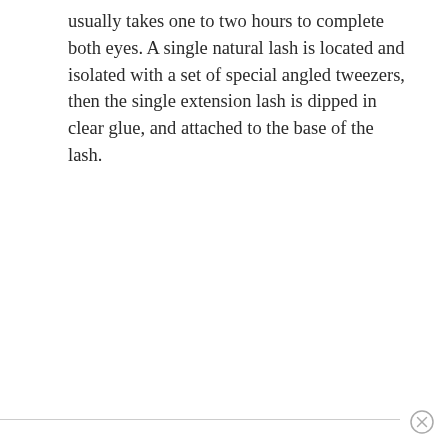usually takes one to two hours to complete both eyes. A single natural lash is located and isolated with a set of special angled tweezers, then the single extension lash is dipped in clear glue, and attached to the base of the lash.